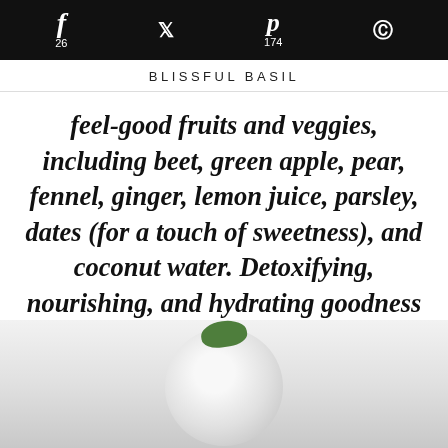f 26  [twitter]  p 174  [reddit]
BLISSFUL BASIL
feel-good fruits and veggies, including beet, green apple, pear, fennel, ginger, lemon juice, parsley, dates (for a touch of sweetness), and coconut water. Detoxifying, nourishing, and hydrating goodness all wrapped up in one (hot) pink package.
[Figure (photo): Partial view of a light-colored round object (possibly a smoothie cup or fruit) with a green leaf on top, photographed from above on a light grey background.]